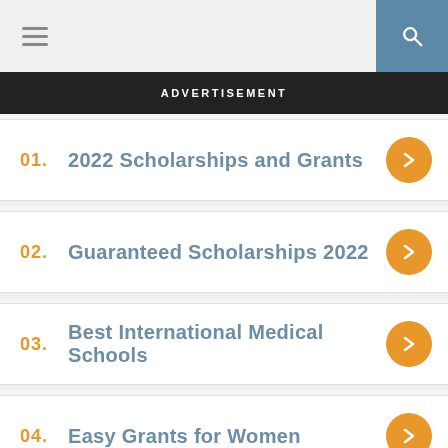ADVERTISEMENT
01. 2022 Scholarships and Grants
02. Guaranteed Scholarships 2022
03. Best International Medical Schools
04. Easy Grants for Women